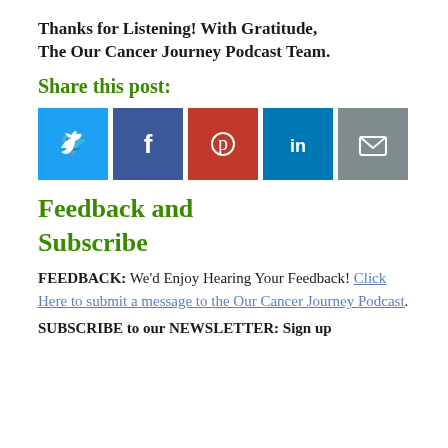Thanks for Listening! With Gratitude, The Our Cancer Journey Podcast Team.
Share this post:
[Figure (other): Five social media share buttons: Twitter (blue), Facebook (dark blue), Pinterest (red), LinkedIn (light blue), Email (grey)]
Feedback and Subscribe
FEEDBACK:  We'd Enjoy Hearing Your Feedback!  Click Here to submit a message to the Our Cancer Journey Podcast.
SUBSCRIBE to our NEWSLETTER:  Sign up